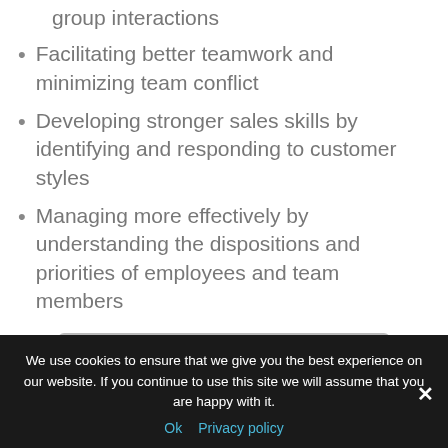group interactions
Facilitating better teamwork and minimizing team conflict
Developing stronger sales skills by identifying and responding to customer styles
Managing more effectively by understanding the dispositions and priorities of employees and team members
View a Sample DiSC Profile
We use cookies to ensure that we give you the best experience on our website. If you continue to use this site we will assume that you are happy with it.
Ok   Privacy policy